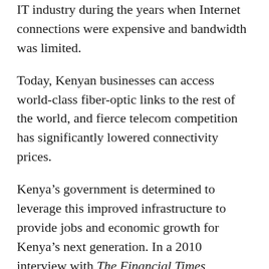IT industry during the years when Internet connections were expensive and bandwidth was limited.
Today, Kenyan businesses can access world-class fiber-optic links to the rest of the world, and fierce telecom competition has significantly lowered connectivity prices.
Kenya's government is determined to leverage this improved infrastructure to provide jobs and economic growth for Kenya's next generation. In a 2010 interview with The Financial Times, Kukubo projected that if 1 million jobs could be created by Kenya's IT sector, “the service economy should surpass agriculture in five years.”